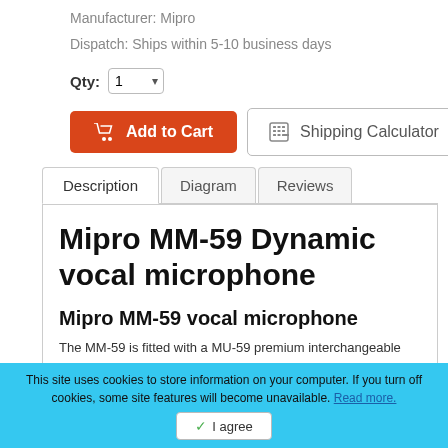Manufacturer: Mipro
Dispatch: Ships within 5-10 business days
Qty: 1
[Figure (screenshot): Add to Cart button (orange) and Shipping Calculator button (white with border)]
Description | Diagram | Reviews tabs
Mipro MM-59 Dynamic vocal microphone
Mipro MM-59 vocal microphone
The MM-59 is fitted with a MU-59 premium interchangeable
This site uses cookies to store information on your computer. If you turn off cookies, some site features will become unavailable. Read more.
I agree